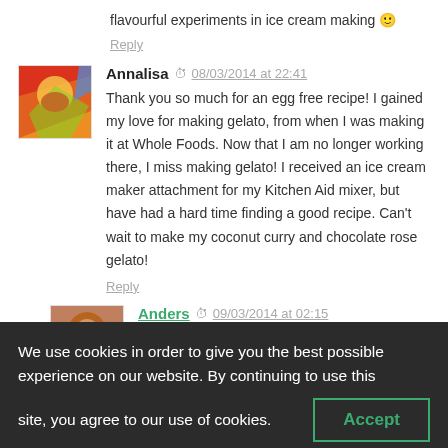flavourful experiments in ice cream making 🙂
Reply
[Figure (photo): Avatar image for Annalisa — colorful abstract art avatar]
Annalisa  08/03/2014 at 22:41
Thank you so much for an egg free recipe! I gained my love for making gelato, from when I was making it at Whole Foods. Now that I am no longer working there, I miss making gelato! I received an ice cream maker attachment for my Kitchen Aid mixer, but have had a hard time finding a good recipe. Can't wait to make my coconut curry and chocolate rose gelato!
Reply
[Figure (photo): Avatar image for Anders — photo of a person]
Anders  09/03/2014 at 02:15
We use cookies in order to give you the best possible experience on our website. By continuing to use this site, you agree to our use of cookies.
Accept